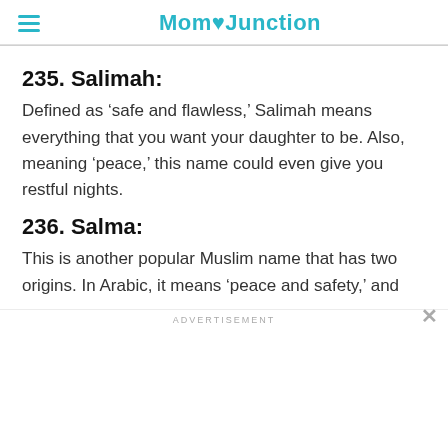Mom Junction
235. Salimah:
Defined as ‘safe and flawless,’ Salimah means everything that you want your daughter to be. Also, meaning ‘peace,’ this name could even give you restful nights.
236. Salma:
This is another popular Muslim name that has two origins. In Arabic, it means ‘peace and safety,’ and
ADVERTISEMENT